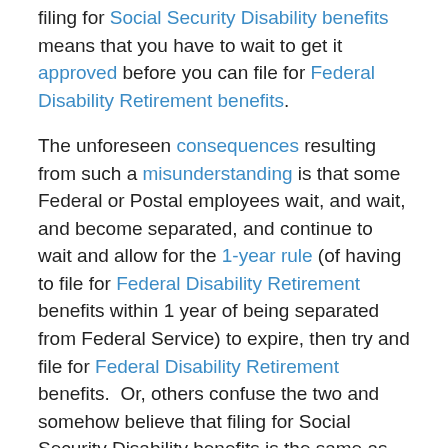filing for Social Security Disability benefits means that you have to wait to get it approved before you can file for Federal Disability Retirement benefits.
The unforeseen consequences resulting from such a misunderstanding is that some Federal or Postal employees wait, and wait, and become separated, and continue to wait and allow for the 1-year rule (of having to file for Federal Disability Retirement benefits within 1 year of being separated from Federal Service) to expire, then try and file for Federal Disability Retirement benefits. Or, others confuse the two and somehow believe that filing for Social Security Disability benefits is the same as filing for Federal Disability Retirement benefits.
Such confusion is often based upon either misinformation or misinterpretation; either way, the consequences of